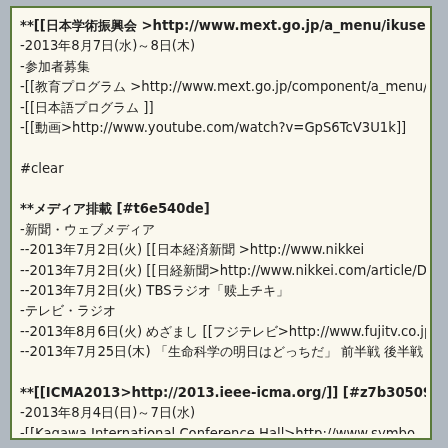**[[日本学術振興会>http://www.mext.go.jp/a_menu/ikusei/kengaku/ -2013年8月7日(水)〜8日(木) -参加者募集 -[[教育プログラム>http://www.mext.go.jp/component/a_menu/edu -[[日本語プログラム>]] -[[動画>http://www.youtube.com/watch?v=GpS6TcV3U1k]]
#clear
**メディア掲載 [#t6e540de] -新聞・ウェブメディア --2013年7月2日(火) [[日本経済新聞>http://www.nikkei --2013年7月2日(火) [[日経新聞>http://www.nikkei.com/article/DGXN --2013年7月2日(火) TBSラジオ「荻上チキ」 -テレビ・ラジオ --2013年8月6日(火) めざまし [[フジテレビ>http://www.fujitv.co.jp/meza/]]放送 --2013年7月25日(木) 「生命科学の明日はどっちだ」 前半戦 後半戦 全体まとめ 議論のまとめ
**[[ICMA2013>http://2013.ieee-icma.org/]] [#z7b30509] -2013年8月4日(日)〜7日(水) -[[Kagawa International Conference Hall>http://www.symbo -Asaoka's talk
**[[日本機械学会>http://www.jsme.or.jp/...2013